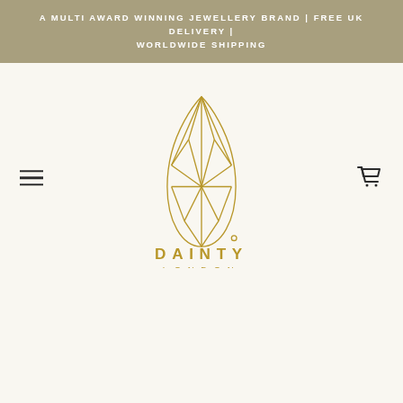A MULTI AWARD WINNING JEWELLERY BRAND | FREE UK DELIVERY | WORLDWIDE SHIPPING
[Figure (logo): Dainty London jewellery brand logo: a geometric faceted teardrop/pear-shaped diamond outline in gold, above the text DAINTY LONDON in gold capitals]